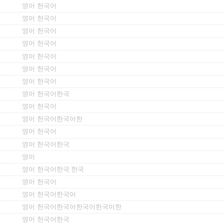영어 한국어
영어 한국어
영어 한국어
영어 한국어
영어 한국어
영어 한국어
영어 한국어
영어 한국어
영어 한국어한국
영어 한국어
영어 한국어한국어한
영어 한국어
영어 한국어한국
영어
영어 한국어한국 한국
영어 한국어
영어 한국어한국어
영어 한국어한국어한국어한국어한
영어 한국어한국
영어 한국어한국어한국어한
영어 한국어한국어
영어 한국어